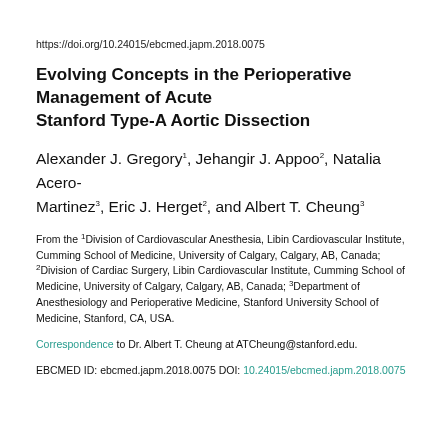https://doi.org/10.24015/ebcmed.japm.2018.0075
Evolving Concepts in the Perioperative Management of Acute Stanford Type-A Aortic Dissection
Alexander J. Gregory1, Jehangir J. Appoo2, Natalia Acero-Martinez3, Eric J. Herget2, and Albert T. Cheung3
From the 1Division of Cardiovascular Anesthesia, Libin Cardiovascular Institute, Cumming School of Medicine, University of Calgary, Calgary, AB, Canada; 2Division of Cardiac Surgery, Libin Cardiovascular Institute, Cumming School of Medicine, University of Calgary, Calgary, AB, Canada; 3Department of Anesthesiology and Perioperative Medicine, Stanford University School of Medicine, Stanford, CA, USA.
Correspondence to Dr. Albert T. Cheung at ATCheung@stanford.edu.
EBCMED ID: ebcmed.japm.2018.0075 DOI: 10.24015/ebcmed.japm.2018.0075